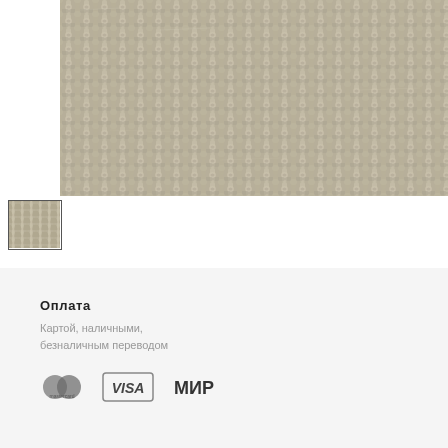[Figure (photo): Close-up photo of woven textile/carpet material with a gray-beige basketweave pattern]
[Figure (photo): Small thumbnail image of the same woven textile fabric, selected state indicated by border]
Оплата
Картой, наличными, безналичным переводом
[Figure (logo): Payment icons: Mastercard, VISA, MIR]